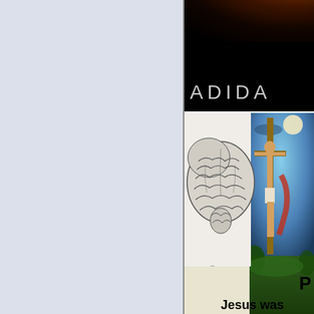[Figure (illustration): Left half of page: large light blue-gray blank/empty panel]
[Figure (photo): Top right quadrant: dark space/planet image with Adidas logo text in silver letters on black background]
[Figure (illustration): Bottom right quadrant: composite image with anatomical brain illustration on left, crucifixion painting on right, caduceus medical symbol at bottom left, partial text 'P' and 'Jesus was' at bottom]